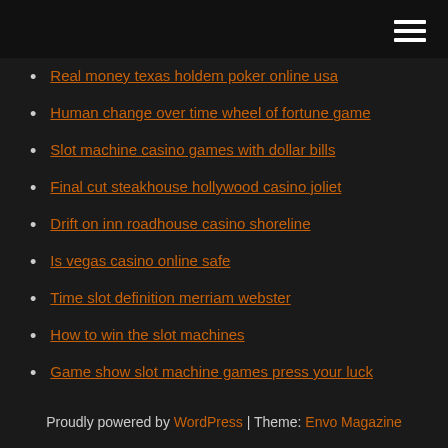[hamburger menu icon]
Real money texas holdem poker online usa
Human change over time wheel of fortune game
Slot machine casino games with dollar bills
Final cut steakhouse hollywood casino joliet
Drift on inn roadhouse casino shoreline
Is vegas casino online safe
Time slot definition merriam webster
How to win the slot machines
Game show slot machine games press your luck
Seven feathers casino coos bay oregon
Interac e transfer canada to usa
Proudly powered by WordPress | Theme: Envo Magazine